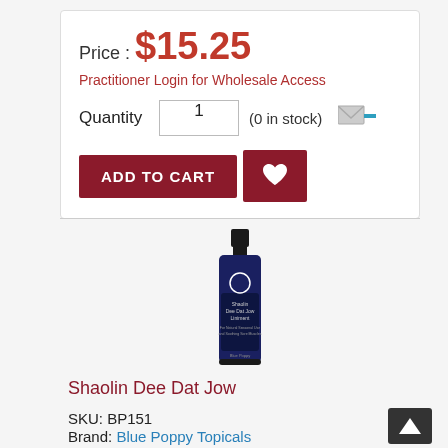Price : $15.25
Practitioner Login for Wholesale Access
Quantity  1  (0 in stock)
ADD TO CART
[Figure (photo): Dark blue bottle of Shaolin Dee Dat Jow Liniment with black cap, Blue Poppy brand product]
Shaolin Dee Dat Jow
SKU: BP151
Brand: Blue Poppy Topicals